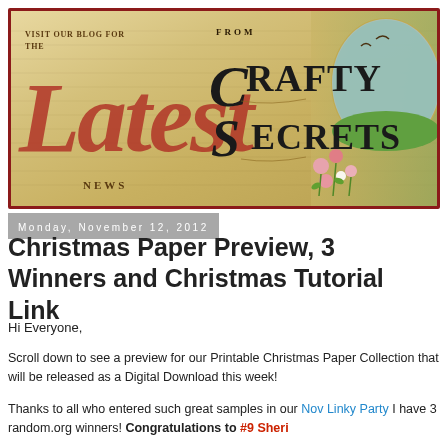[Figure (illustration): Crafty Secrets blog banner with vintage aged paper background, large decorative red italic 'Latest' text with ornate styling, 'Visit Our Blog for the Latest News' text on left, 'From Crafty Secrets' text with decorative lettering on right, nature scene with birds and flowers on far right, dark red border frame around entire banner.]
Monday, November 12, 2012
Christmas Paper Preview, 3 Winners and Christmas Tutorial Link
Hi Everyone,
Scroll down to see a preview for our Printable Christmas Paper Collection that will be released as a Digital Download this week!
Thanks to all who entered such great samples in our Nov Linky Party I have 3 random.org winners! Congratulations to #9 Sheri